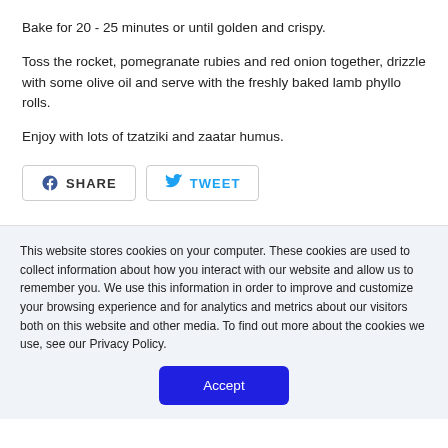Bake for 20 - 25 minutes or until golden and crispy.
Toss the rocket, pomegranate rubies and red onion together, drizzle with some olive oil and serve with the freshly baked lamb phyllo rolls.
Enjoy with lots of tzatziki and zaatar humus.
[Figure (other): Social sharing buttons: Facebook SHARE button and Twitter TWEET button]
This website stores cookies on your computer. These cookies are used to collect information about how you interact with our website and allow us to remember you. We use this information in order to improve and customize your browsing experience and for analytics and metrics about our visitors both on this website and other media. To find out more about the cookies we use, see our Privacy Policy.